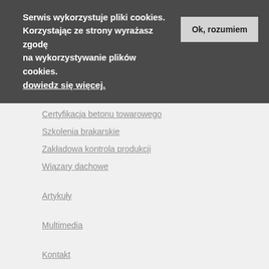Serwis wykorzystuje pliki cookies. Korzystając ze strony wyrażasz zgodę na wykorzystywanie plików cookies. dowiedz się więcej.
Certyfikacja betonu towarowego
Szkolenia brakarskie
Zakładowa kontrola produkcji
Wiązary dachowe
Artykuły
Multimedia
Kontakt
Copyright © 2016, Certlab | Centrum Doradczo-Laboratoryjne